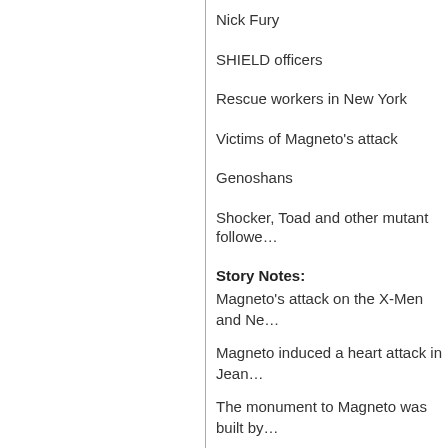Nick Fury
SHIELD officers
Rescue workers in New York
Victims of Magneto's attack
Genoshans
Shocker, Toad and other mutant followe…
Story Notes:
Magneto's attack on the X-Men and Ne…
Magneto induced a heart attack in Jean…
The monument to Magneto was built by…
Scarlet Witch and Quicksilver learned th… Witch (first series) #4. Polaris was revea… Magneto's first daughter, Anya was kille… different mother to the other three.